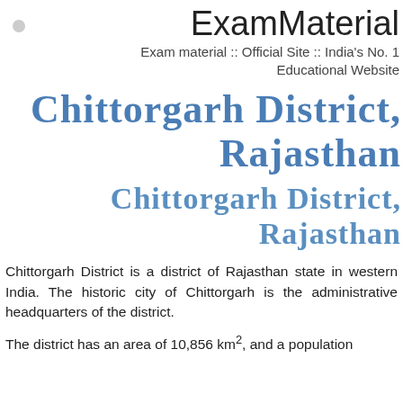ExamMaterial
Exam material :: Official Site :: India's No. 1 Educational Website
Chittorgarh District, Rajasthan
Chittorgarh District, Rajasthan
Chittorgarh District is a district of Rajasthan state in western India. The historic city of Chittorgarh is the administrative headquarters of the district.
The district has an area of 10,856 km², and a population